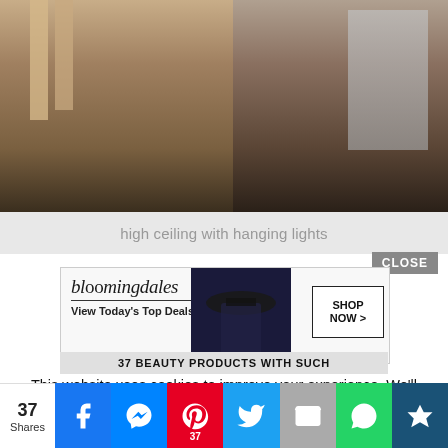[Figure (photo): Interior photo of a rustic cabin showing wooden staircase railing on the left, patterned wood wall in the center background with a lamp and console table, and a modern kitchen with stainless steel refrigerator and wood cabinetry on the right. Dark slate tile floor.]
high ceiling with hanging lights
[Figure (screenshot): Bloomingdale's advertisement banner: logo text 'bloomingdales', tagline 'View Today's Top Deals!', model photo in hat, and 'SHOP NOW >' button. Below it a partially visible headline '37 BEAUTY PRODUCTS WITH SUCH'. A CLOSE button appears above the ad.]
This website uses cookies to improve your experience. We'll assume you're ok with this, but you can opt-out if you wish.
[Figure (infographic): Social share bar showing 37 Shares count, and buttons for Facebook, Messenger, Pinterest (37), Twitter, Email, WhatsApp, and a crown/bookmark icon.]